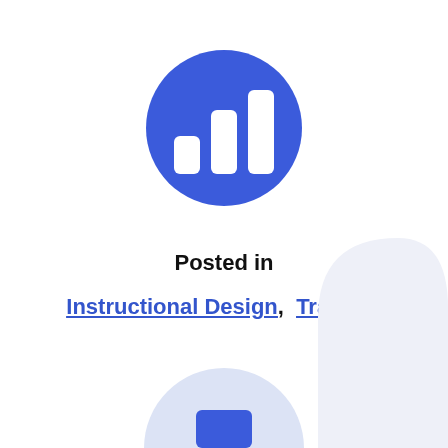[Figure (logo): Blue circle logo with white bar chart/analytics icon (three vertical bars of increasing height) — resembling a data/analytics app icon]
Posted in
Instructional Design,  Training